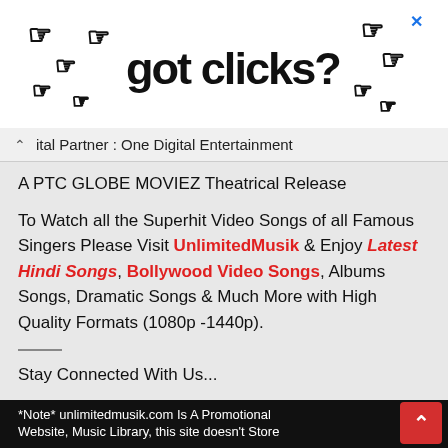[Figure (illustration): Advertisement banner with cursor/hand pointer icons and text 'got clicks?' in large bold font, with a close X button in blue at top right.]
ital Partner : One Digital Entertainment
A PTC GLOBE MOVIEZ Theatrical Release
To Watch all the Superhit Video Songs of all Famous Singers Please Visit UnlimitedMusik & Enjoy Latest Hindi Songs, Bollywood Video Songs, Albums Songs, Dramatic Songs & Much More with High Quality Formats (1080p -1440p).
Stay Connected With Us...
*Note* unlimitedmusik.com Is A Promotional Website, Music Library, this site doesn't Store